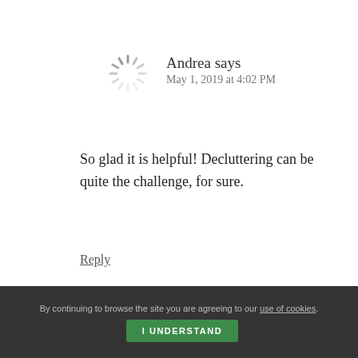Andrea says
May 1, 2019 at 4:02 PM
So glad it is helpful! Decluttering can be quite the challenge, for sure.
Reply
Rola says
April 18, 2019 at 6:20 AM
Helpful post, am all about saving my coins. Thanks
By continuing to browse the site you are agreeing to our use of cookies.
I UNDERSTAND